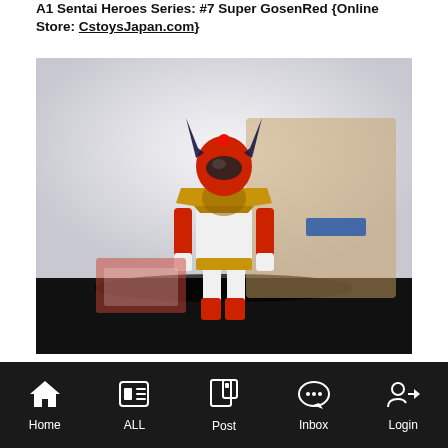A1 Sentai Heroes Series: #7 Super GosenRed {Online Store: CstoysJapan.com}
[Figure (photo): A Super Sentai / Power Rangers action figure with red helmet, gold chest armor, and white pants posed standing upright against a light background with cardboard boxes behind it.]
Home  ALL  Post  Inbox  Login